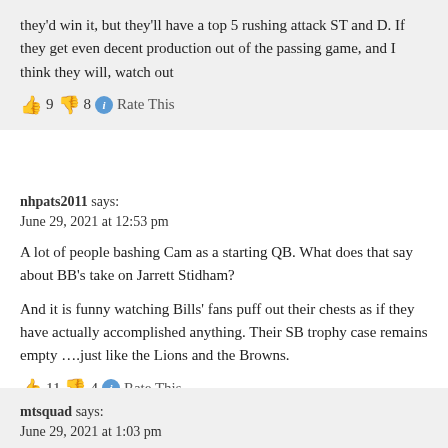they'd win it, but they'll have a top 5 rushing attack ST and D. If they get even decent production out of the passing game, and I think they will, watch out
👍 9 👎 8 ℹ Rate This
nhpats2011 says:
June 29, 2021 at 12:53 pm
A lot of people bashing Cam as a starting QB. What does that say about BB's take on Jarrett Stidham?
And it is funny watching Bills' fans puff out their chests as if they have actually accomplished anything. Their SB trophy case remains empty ….just like the Lions and the Browns.
👍 11 👎 4 ℹ Rate This
mtsquad says:
June 29, 2021 at 1:03 pm